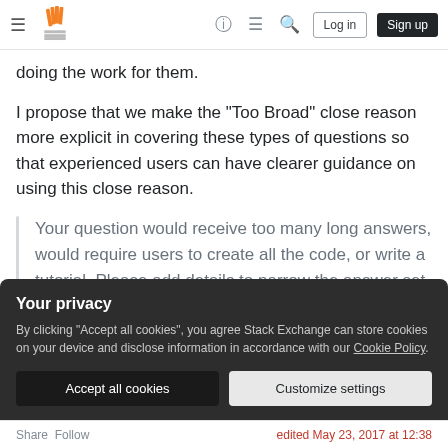Stack Exchange navigation bar with hamburger menu, logo, help, chat, search icons, Log in and Sign up buttons
doing the work for them.
I propose that we make the "Too Broad" close reason more explicit in covering these types of questions so that experienced users can have clearer guidance on using this close reason.
Your question would receive too many long answers, would require users to create all the code, or write a tutorial. Please add details to narrow the answer set or to
Your privacy
By clicking "Accept all cookies", you agree Stack Exchange can store cookies on your device and disclose information in accordance with our Cookie Policy.
Accept all cookies  Customize settings
Share  Follow    edited May 23, 2017 at 12:38